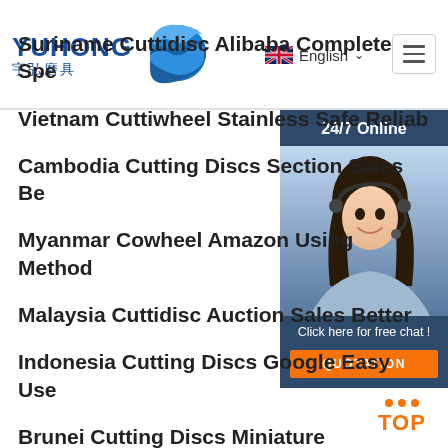[Figure (logo): Yuhong logo with blue Chinese characters and blue wave/globe icon]
[Figure (screenshot): UK flag icon with English language selector and dropdown arrow]
[Figure (other): Hamburger menu button]
[Figure (photo): 24/7 Online customer service panel with woman wearing headset, click here for free chat text, and orange QUOTATION button]
Suriname Cuttidisc Alibaba Complete Spe
Vietnam Cuttiwheel Stainless Safe Reliab
Cambodia Cutting Discs Section Sales Be
Myanmar Cowheel Amazon Using Method
Malaysia Cuttidisc Auction Sales Better
Indonesia Cutting Discs Google Easy Use
Brunei Cutting Discs Miniature Reasonable Design
[Figure (other): Orange TOP button with three orange dots above]